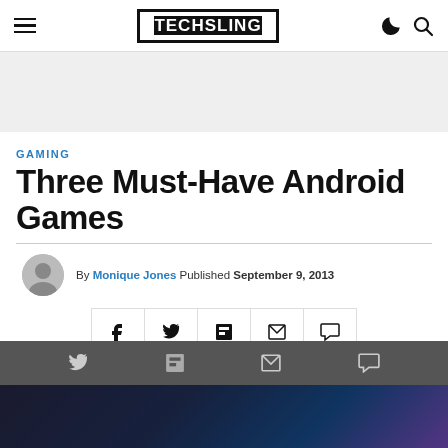TECHSLING — navigation header with hamburger menu, logo, moon icon, search icon
[Figure (other): Gray advertisement banner placeholder]
GAMING
Three Must-Have Android Games
By Monique Jones Published September 9, 2013
[Figure (other): Social share buttons: Facebook, Twitter, Flipboard, Email, Comment]
[Figure (other): Sticky bottom bar with Twitter, Flipboard, Email, Comment icons]
[Figure (photo): Dark gaming-themed image at the bottom of the page]